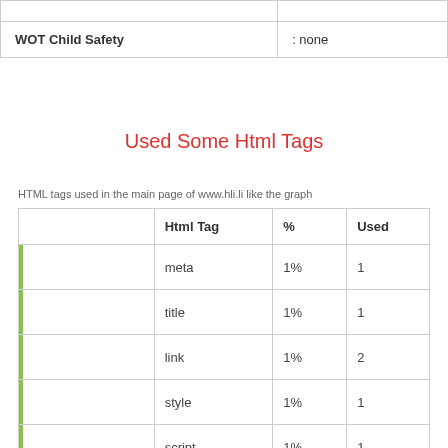|  |  |
| --- | --- |
| WOT Child Safety | : none |
Used Some Html Tags
HTML tags used in the main page of www.hli.li like the graph
|  | Html Tag | % | Used |
| --- | --- | --- | --- |
|  | meta | 1% | 1 |
|  | title | 1% | 1 |
|  | link | 1% | 2 |
|  | style | 1% | 1 |
|  | script | 1% | 1 |
|  | table | 10% | 24 |